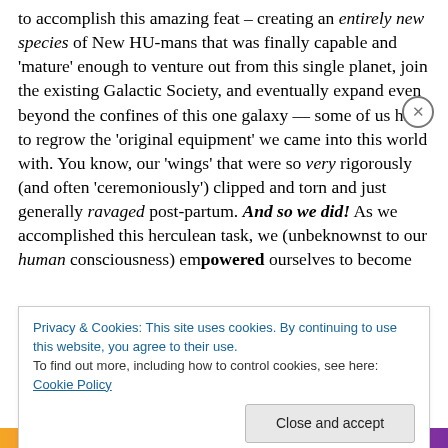to accomplish this amazing feat – creating an entirely new species of New HU-mans that was finally capable and 'mature' enough to venture out from this single planet, join the existing Galactic Society, and eventually expand even beyond the confines of this one galaxy — some of us had to regrow the 'original equipment' we came into this world with. You know, our 'wings' that were so very rigorously (and often 'ceremoniously') clipped and torn and just generally ravaged post-partum. And so we did! As we accomplished this herculean task, we (unbeknownst to our human consciousness) empowered ourselves to become
Privacy & Cookies: This site uses cookies. By continuing to use this website, you agree to their use.
To find out more, including how to control cookies, see here: Cookie Policy